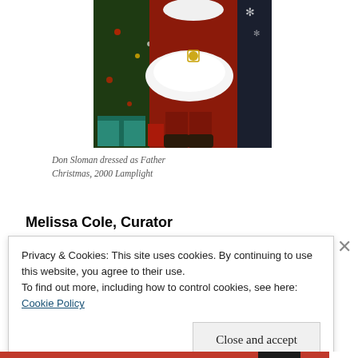[Figure (photo): Don Sloman dressed as Father Christmas (Santa Claus) standing in front of a Christmas tree with presents, wearing a red velvet suit with white fur trim and belt, at Lamplight, year 2000.]
Don Sloman dressed as Father Christmas, 2000 Lamplight
Melissa Cole, Curator
Privacy & Cookies: This site uses cookies. By continuing to use this website, you agree to their use.
To find out more, including how to control cookies, see here:
Cookie Policy
Close and accept